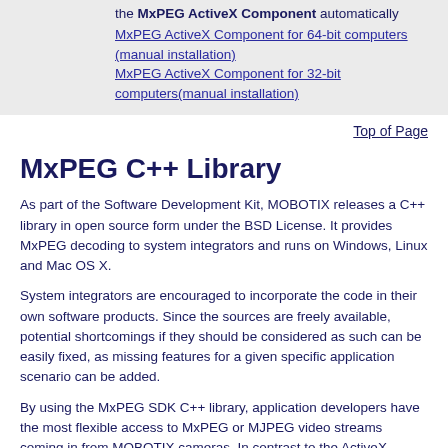the MxPEG ActiveX Component automatically
MxPEG ActiveX Component for 64-bit computers (manual installation)
MxPEG ActiveX Component for 32-bit computers(manual installation)
Top of Page
MxPEG C++ Library
As part of the Software Development Kit, MOBOTIX releases a C++ library in open source form under the BSD License. It provides MxPEG decoding to system integrators and runs on Windows, Linux and Mac OS X.
System integrators are encouraged to incorporate the code in their own software products. Since the sources are freely available, potential shortcomings if they should be considered as such can be easily fixed, as missing features for a given specific application scenario can be added.
By using the MxPEG SDK C++ library, application developers have the most flexible access to MxPEG or MJPEG video streams coming in from MOBOTIX cameras. In contrast to the ActiveX component described earlier, due to their platform-independent nature, these classes can be used to build applications that can be deployed on Windows, Linux or Mac OS X.
The C++ library is also object-oriented and...